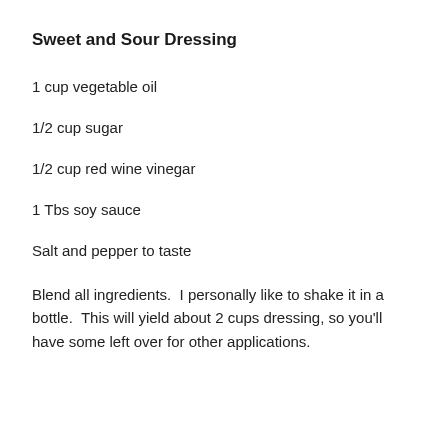Sweet and Sour Dressing
1 cup vegetable oil
1/2 cup sugar
1/2 cup red wine vinegar
1 Tbs soy sauce
Salt and pepper to taste
Blend all ingredients.  I personally like to shake it in a bottle.  This will yield about 2 cups dressing, so you'll have some left over for other applications.